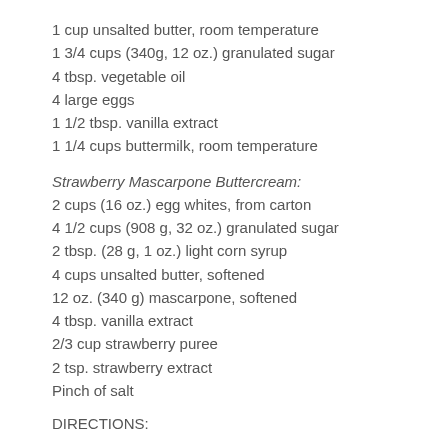1 cup unsalted butter, room temperature
1 3/4 cups (340g, 12 oz.) granulated sugar
4 tbsp. vegetable oil
4 large eggs
1 1/2 tbsp. vanilla extract
1 1/4 cups buttermilk, room temperature
Strawberry Mascarpone Buttercream:
2 cups (16 oz.) egg whites, from carton
4 1/2 cups (908 g, 32 oz.) granulated sugar
2 tbsp. (28 g, 1 oz.) light corn syrup
4 cups unsalted butter, softened
12 oz. (340 g) mascarpone, softened
4 tbsp. vanilla extract
2/3 cup strawberry puree
2 tsp. strawberry extract
Pinch of salt
DIRECTIONS: